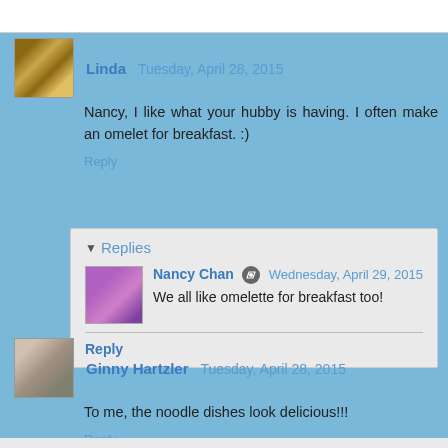Linda  Tuesday, April 28, 2015
Nancy, I like what your hubby is having. I often make an omelet for breakfast. :)
Reply
Replies
Nancy Chan  Wednesday, April 29, 2015
We all like omelette for breakfast too!
Reply
Ginny Hartzler  Tuesday, April 28, 2015
To me, the noodle dishes look delicious!!!
Reply